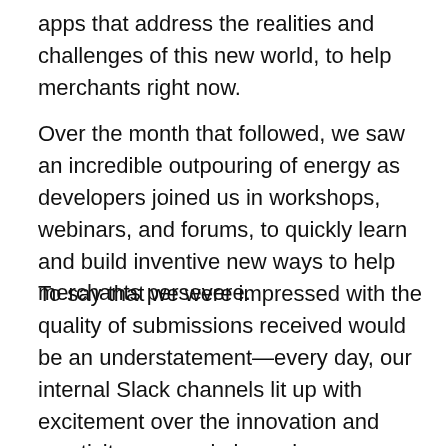apps that address the realities and challenges of this new world, to help merchants right now.
Over the month that followed, we saw an incredible outpouring of energy as developers joined us in workshops, webinars, and forums, to quickly learn and build inventive new ways to help merchants persevere.
To say that we were impressed with the quality of submissions received would be an understatement—every day, our internal Slack channels lit up with excitement over the innovation and creativity we saw in incoming submissions.